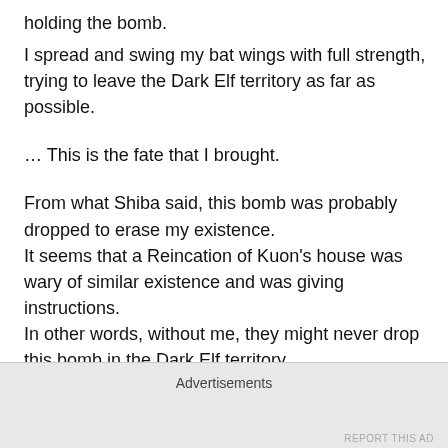holding the bomb.
I spread and swing my bat wings with full strength, trying to leave the Dark Elf territory as far as possible.
… This is the fate that I brought.
From what Shiba said, this bomb was probably dropped to erase my existence.
It seems that a Reincation of Kuon's house was wary of similar existence and was giving instructions.
In other words, without me, they might never drop this bomb in the Dark Elf territory.
People might have been kidnapped away, but it would end with just that.
Advertisements